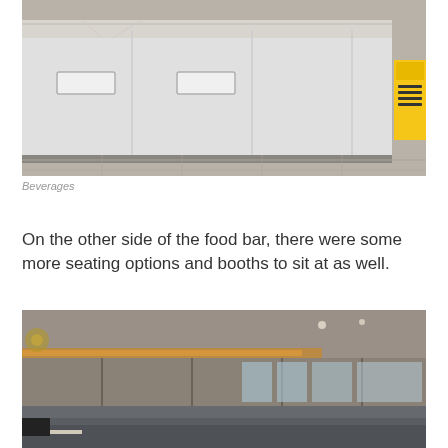[Figure (photo): Photo of beverage station counter with white cabinetry, rectangular cutout handles, marble countertop, and a yellow caution wet floor sign visible at the right side on tiled floor.]
Beverages
On the other side of the food bar, there were some more seating options and booths to sit at as well.
[Figure (photo): Photo of airport lounge interior showing grey upholstered booth seating along mirrored wall panels with warm LED lighting in ceiling coves, chandelier visible at left, and large windows showing outdoor sky at right.]